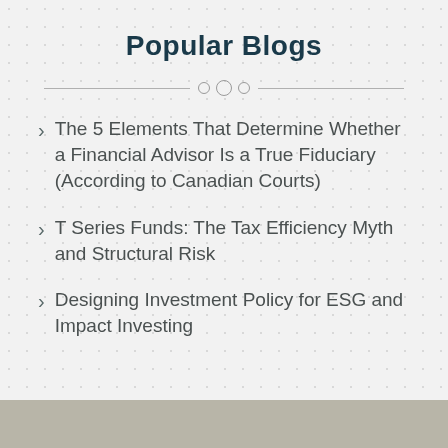Popular Blogs
The 5 Elements That Determine Whether a Financial Advisor Is a True Fiduciary (According to Canadian Courts)
T Series Funds: The Tax Efficiency Myth and Structural Risk
Designing Investment Policy for ESG and Impact Investing